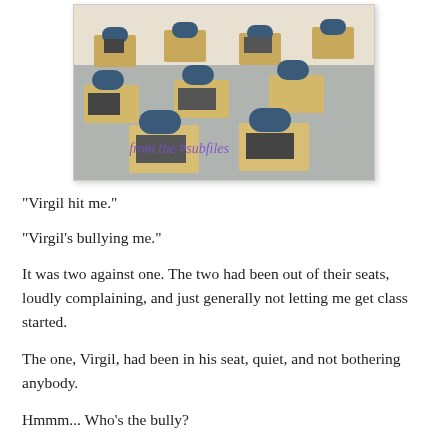[Figure (photo): Photograph of an empty classroom with rows of student desks and chairs. Blue seat cushions on metal-legged desks with laptops on some desks. Watermark text reads 'from the #subfiles' in purple italic font.]
"Virgil hit me."
"Virgil's bullying me."
It was two against one. The two had been out of their seats, loudly complaining, and just generally not letting me get class started.
The one, Virgil, had been in his seat, quiet, and not bothering anybody.
Hmmm... Who's the bully?
Mateo wouldn't sit still. He needed to blow his nose several